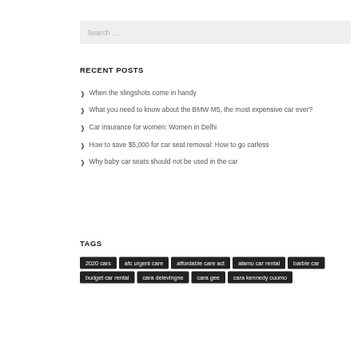Search …
RECENT POSTS
When the slingshots come in handy
What you need to know about the BMW M5, the most expensive car ever?
Car insurance for women: Women in Delhi
How to save $5,000 for car seat removal: How to go carless
Why baby car seats should not be used in the car
TAGS
2020 cars
afc urgent care
affordable care act
alamo car rental
barbie car
budget car rental
cara delevingne
cara gee
cara kennedy cuomo